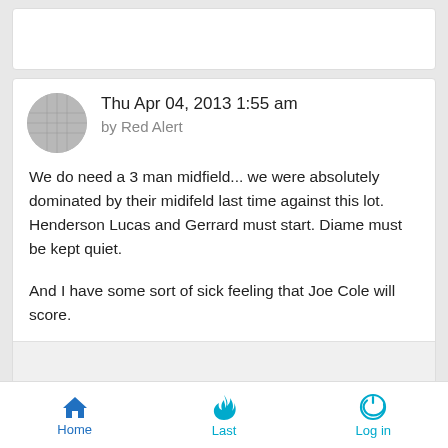Thu Apr 04, 2013 1:55 am by Red Alert
We do need a 3 man midfield... we were absolutely dominated by their midifeld last time against this lot. Henderson Lucas and Gerrard must start. Diame must be kept quiet.

And I have some sort of sick feeling that Joe Cole will score.
by Sponsored content
Home  Last  Log in